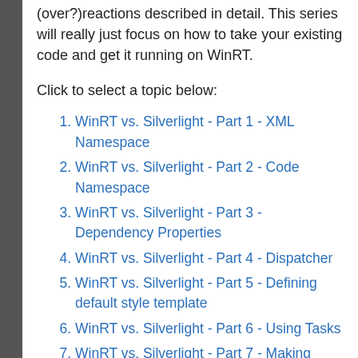(over?)reactions described in detail. This series will really just focus on how to take your existing code and get it running on WinRT.
Click to select a topic below:
WinRT vs. Silverlight - Part 1 - XML Namespace
WinRT vs. Silverlight - Part 2 - Code Namespace
WinRT vs. Silverlight - Part 3 - Dependency Properties
WinRT vs. Silverlight - Part 4 - Dispatcher
WinRT vs. Silverlight - Part 5 - Defining default style template
WinRT vs. Silverlight - Part 6 - Using Tasks
WinRT vs. Silverlight - Part 7 - Making WebRequests